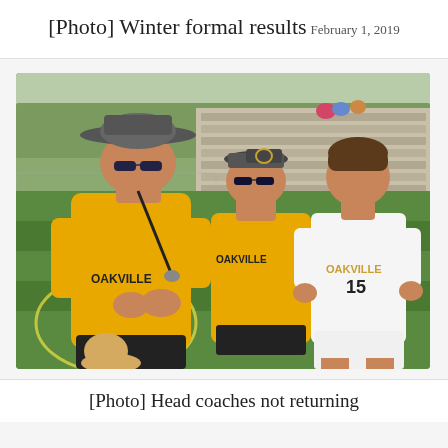[Photo] Winter formal results
February 1, 2019
[Figure (photo): Two coaches in yellow Oakville shirts and a player in white Oakville #15 jersey standing on a soccer field. The coach in front wears a wide-brim hat and sunglasses and appears to be speaking. Bleachers are visible in the background.]
[Photo] Head coaches not returning